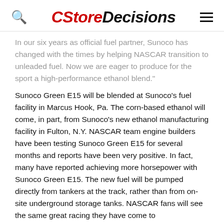CStoreDecisions
In our six years as official fuel partner, Sunoco has changed with the times by helping NASCAR transition to unleaded fuel. Now we are eager to produce for the sport a high-performance ethanol blend."
Sunoco Green E15 will be blended at Sunoco's fuel facility in Marcus Hook, Pa. The corn-based ethanol will come, in part, from Sunoco's new ethanol manufacturing facility in Fulton, N.Y. NASCAR team engine builders have been testing Sunoco Green E15 for several months and reports have been very positive. In fact, many have reported achieving more horsepower with Sunoco Green E15. The new fuel will be pumped directly from tankers at the track, rather than from on-site underground storage tanks. NASCAR fans will see the same great racing they have come to